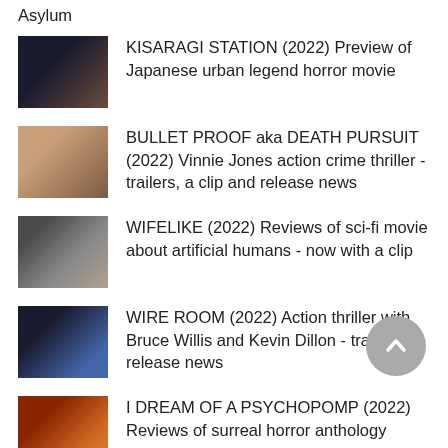Asylum
KISARAGI STATION (2022) Preview of Japanese urban legend horror movie
BULLET PROOF aka DEATH PURSUIT (2022) Vinnie Jones action crime thriller - trailers, a clip and release news
WIFELIKE (2022) Reviews of sci-fi movie about artificial humans - now with a clip
WIRE ROOM (2022) Action thriller with Bruce Willis and Kevin Dillon - trailer and release news
I DREAM OF A PSYCHOPOMP (2022) Reviews of surreal horror anthology